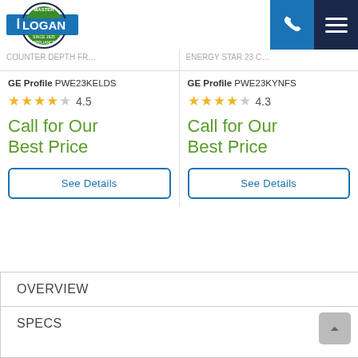[Figure (logo): Logan Master Appliance logo with blue bar and circular badge]
GE Profile PWE23KELDS — rating 4.5 stars — Call for Our Best Price
GE Profile PWE23KYNFS — rating 4.3 stars — Call for Our Best Price
OVERVIEW
SPECS